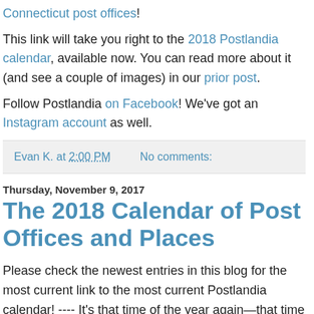Connecticut post offices!
This link will take you right to the 2018 Postlandia calendar, available now. You can read more about it (and see a couple of images) in our prior post.
Follow Postlandia on Facebook! We've got an Instagram account as well.
Evan K. at 2:00 PM    No comments:
Thursday, November 9, 2017
The 2018 Calendar of Post Offices and Places
Please check the newest entries in this blog for the most current link to the most current Postlandia calendar! ---- It's that time of the year again—that time I somewhat shamelessly inform you of the amazing and fantastic new Postlandia Calendar of Post Offices and Places! This year's